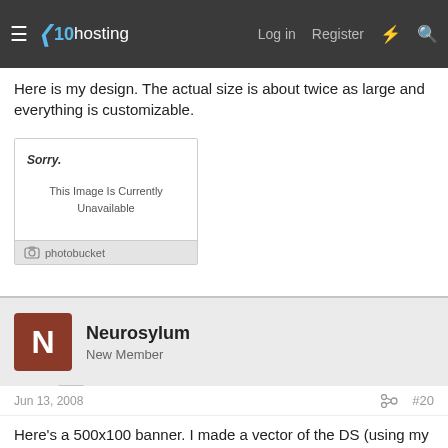x10hosting — Log in  Register
Here is my design. The actual size is about twice as large and everything is customizable.
[Figure (other): Photobucket image placeholder showing 'Sorry. This Image Is Currently Unavailable' with photobucket logo footer]
Neurosylum
New Member
Jun 13, 2008  #20
Here's a 500x100 banner. I made a vector of the DS (using my black one as a reference) and it's a whole lot bigger. My original file size is 1000px x 1000px. So, if you need it bigger, there's no problem. Here's uhhh "D"...the mascot... LOL